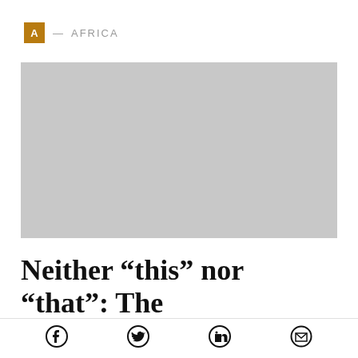A — AFRICA
[Figure (photo): Gray placeholder image for article photo]
Neither “this” nor “that”: The
Social sharing icons: Facebook, Twitter, LinkedIn, Email